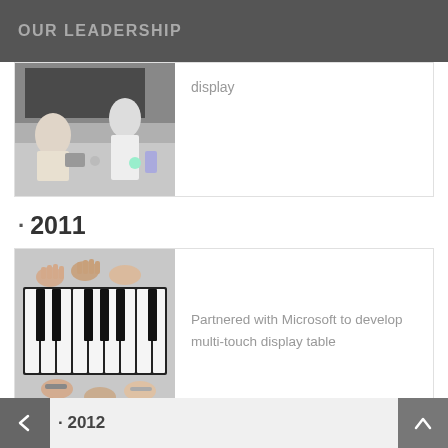OUR LEADERSHIP
[Figure (photo): Two people interacting with a large display screen, one seated and one standing, with items on a table in the foreground]
display
· 2011
[Figure (photo): Top-down view of multiple hands playing a piano-style multi-touch display table]
Partnered with Microsoft to develop multi-touch display table
· 2012